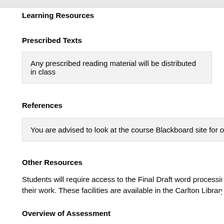Learning Resources
Prescribed Texts
| Any prescribed reading material will be distributed in class |
References
| You are advised to look at the course Blackboard site for ongoing update |
Other Resources
Students will require access to the Final Draft word processing p... their work. These facilities are available in the Carlton Library. As
Overview of Assessment